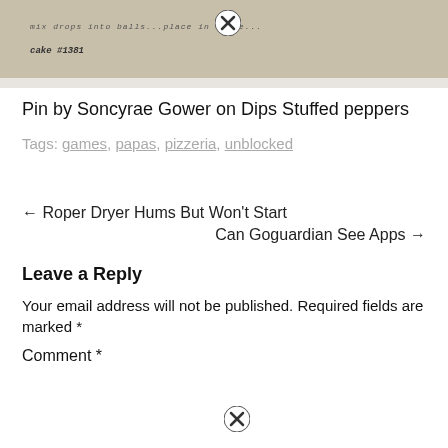[Figure (photo): Blurred image of handwritten or printed text on a beige/cream paper background, partially visible with a close button overlay]
Pin by Soncyrae Gower on Dips Stuffed peppers
Tags: games, papas, pizzeria, unblocked
← Roper Dryer Hums But Won't Start
Can Goguardian See Apps →
Leave a Reply
Your email address will not be published. Required fields are marked *
Comment *